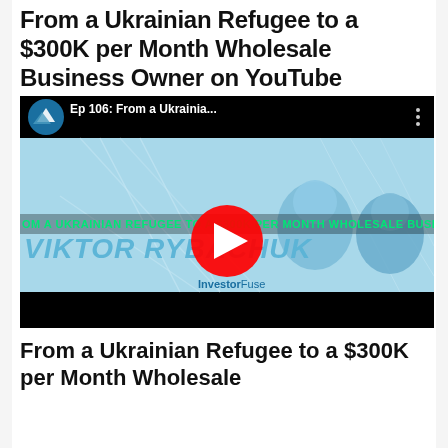From a Ukrainian Refugee to a $300K per Month Wholesale Business Owner on YouTube
[Figure (screenshot): YouTube video thumbnail showing episode 106 titled 'Ep 106: From a Ukrainia...' with the InvestorFuse logo, text 'FROM A UKRAINIAN REFUGEE TO A $300K PER MONTH WHOLESALE BUSINE', 'VIKTOR RYBACHUK' in large letters, a YouTube play button in red, and two men visible in the thumbnail. The video player has a black bar at the bottom.]
From a Ukrainian Refugee to a $300K per Month Wholesale